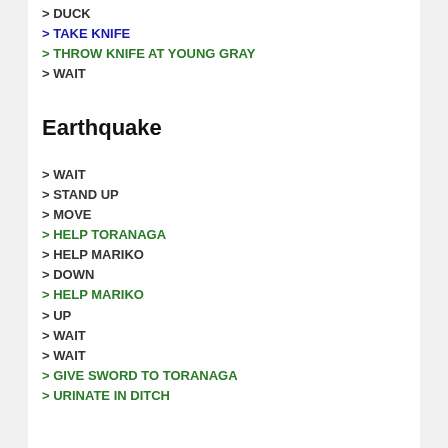> DUCK
> TAKE KNIFE
> THROW KNIFE AT YOUNG GRAY
> WAIT
Earthquake
> WAIT
> STAND UP
> MOVE
> HELP TORANAGA
> HELP MARIKO
> DOWN
> HELP MARIKO
> UP
> WAIT
> WAIT
> GIVE SWORD TO TORANAGA
> URINATE IN DITCH